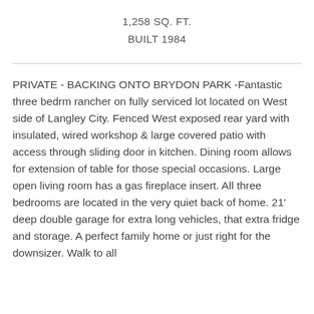1,258 SQ. FT.
BUILT 1984
PRIVATE - BACKING ONTO BRYDON PARK -Fantastic three bedrm rancher on fully serviced lot located on West side of Langley City. Fenced West exposed rear yard with insulated, wired workshop & large covered patio with access through sliding door in kitchen. Dining room allows for extension of table for those special occasions. Large open living room has a gas fireplace insert. All three bedrooms are located in the very quiet back of home. 21' deep double garage for extra long vehicles, that extra fridge and storage. A perfect family home or just right for the downsizer. Walk to all